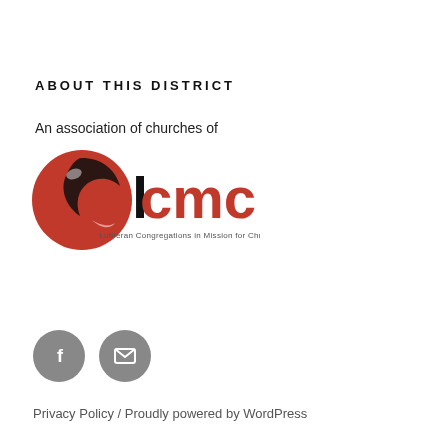ABOUT THIS DISTRICT
An association of churches of
[Figure (logo): LCMC logo - Lutheran Congregations in Mission for Christ. Red circular icon with stylized dove/cross shape and bold black lowercase text 'lcmc' with tagline 'Lutheran Congregations in Mission for Christ']
[Figure (other): Two circular grey social media icons: Facebook (f) and email (envelope)]
Privacy Policy / Proudly powered by WordPress